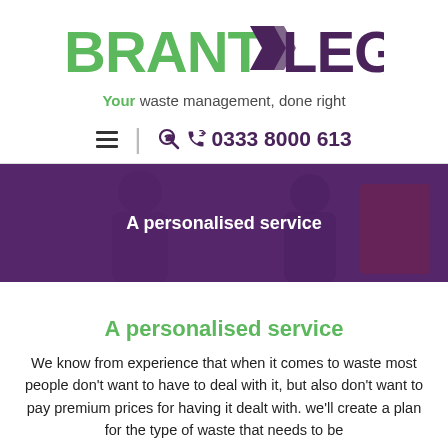[Figure (logo): Brantlegh logo with BRANT in green and LEGH in purple, with a purple arrow/chevron between them]
Your waste management, done right
≡  |  ☎ 0333 8000 613
[Figure (photo): Two people in a purple-tinted overlay photo with text 'A personalised service' overlaid in white]
A personalised service
We know from experience that when it comes to waste most people don't want to have to deal with it, but also don't want to pay premium prices for having it dealt with. we'll create a plan for the type of waste that needs to be